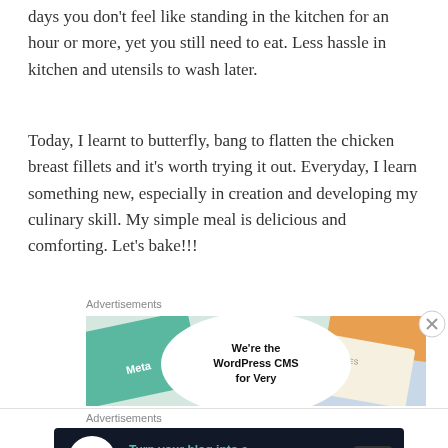days you don't feel like standing in the kitchen for an hour or more, yet you still need to eat. Less hassle in kitchen and utensils to wash later.
Today, I learnt to butterfly, bang to flatten the chicken breast fillets and it's worth trying it out. Everyday, I learn something new, especially in creation and developing my culinary skill. My simple meal is delicious and comforting. Let's bake!!!
Advertisements
[Figure (screenshot): Advertisement image showing Meta/Facebook cards with text 'We're the WordPress CMS for Very']
Advertisements
[Figure (screenshot): Dark banner ad: 'Turn your blog into a money-making online course.' with arrow button and logo icon]